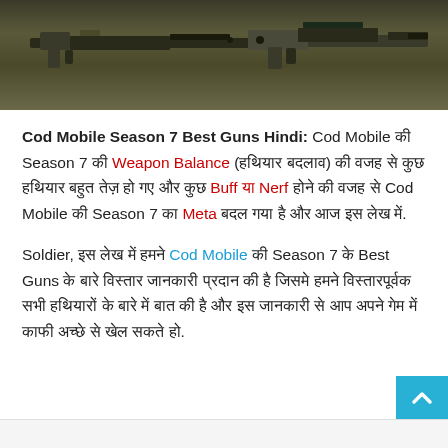[Figure (photo): Header image showing two military-style rifles/guns against a dark olive/military green background with pegboard texture.]
Cod Mobile Season 7 Best Guns Hindi: Cod Mobile की Season 7 की Weapon Balance (हथियार बदलाव) की वजह से कुछ हथियार बहुत तेज़ हो गए और कुछ Buff या Nerf होने की वजह से Cod Mobile की Season 7 का Meta बदल गया है और आज इस लेख में.
Soldier, इस लेख में हमने Cod Mobile की Season 7 के Best Guns के बारे विस्तार जानकारी प्रदान की है जिसमे हमने विस्तारपूर्वक सभी हथियारों के बारे में बात की है और इस जानकारी से आप अपने गेम में काफी अच्छे से खेल सकते हो.